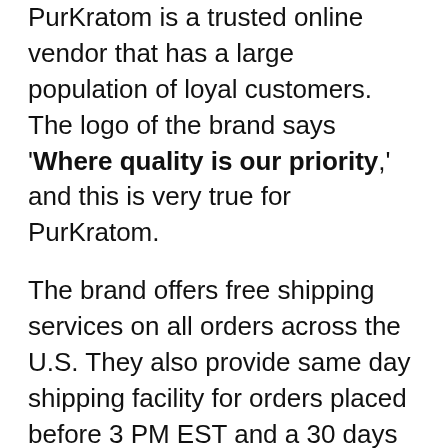PurKratom is a trusted online vendor that has a large population of loyal customers. The logo of the brand says 'Where quality is our priority,' and this is very true for PurKratom.
The brand offers free shipping services on all orders across the U.S. They also provide same day shipping facility for orders placed before 3 PM EST and a 30 days money back guarantee.
Moreover, the products sold by PurKratom are very safe and user-friendly because customer safety and health is their main priority. The brand only stocks Kratom